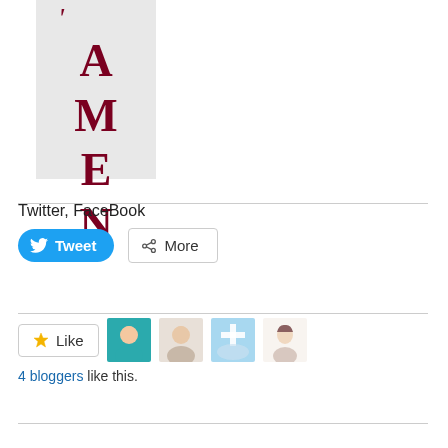[Figure (illustration): Book cover with light gray background showing the text 'AMEN' in large dark red serif letters arranged vertically, with an apostrophe at top]
Twitter, FaceBook
[Figure (screenshot): Tweet button (blue rounded) and More button (gray outlined) for social sharing]
[Figure (screenshot): Like button with star icon and 4 blogger avatar thumbnails. Text: 4 bloggers like this.]